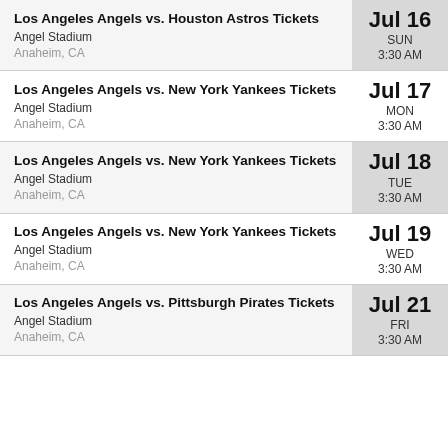Los Angeles Angels vs. Houston Astros Tickets
Angel Stadium
Anaheim, CA
Jul 16 SUN 3:30 AM
Los Angeles Angels vs. New York Yankees Tickets
Angel Stadium
Anaheim, CA
Jul 17 MON 3:30 AM
Los Angeles Angels vs. New York Yankees Tickets
Angel Stadium
Anaheim, CA
Jul 18 TUE 3:30 AM
Los Angeles Angels vs. New York Yankees Tickets
Angel Stadium
Anaheim, CA
Jul 19 WED 3:30 AM
Los Angeles Angels vs. Pittsburgh Pirates Tickets
Angel Stadium
Anaheim, CA
Jul 21 FRI 3:30 AM